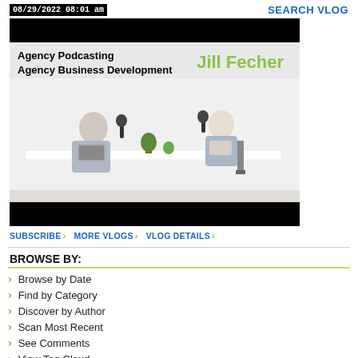08/29/2022 08:01 am
SEARCH VLOG
[Figure (photo): Video thumbnail showing two people at a white table with microphones for a podcast recording. Text overlay reads 'Agency Podcasting Agency Business Development' and 'Jill Fecher' in green.]
SUBSCRIBE › MORE VLOGS › VLOG DETAILS ›
BROWSE BY:
Browse by Date
Find by Category
Discover by Author
Scan Most Recent
See Comments
View Tag Cloud